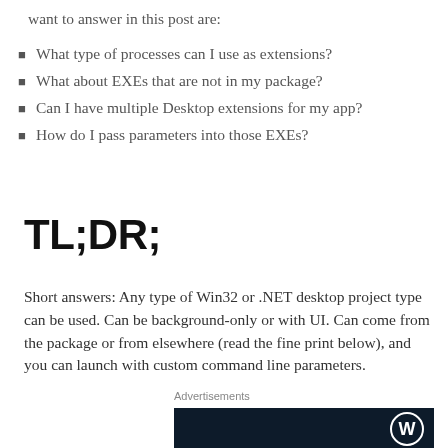want to answer in this post are:
What type of processes can I use as extensions?
What about EXEs that are not in my package?
Can I have multiple Desktop extensions for my app?
How do I pass parameters into those EXEs?
TL;DR;
Short answers: Any type of Win32 or .NET desktop project type can be used. Can be background-only or with UI. Can come from the package or from elsewhere (read the fine print below), and you can launch with custom command line parameters.
Advertisements